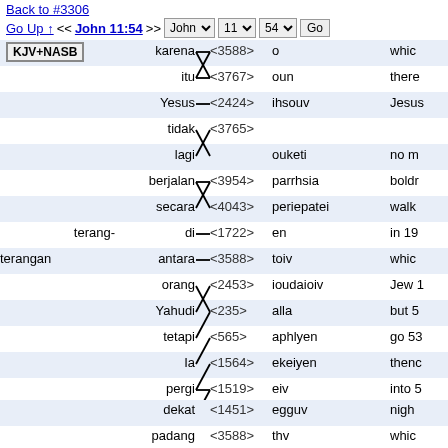Back to #3306
Go Up ↑ << John 11:54 >>  John  11  54  Go
[Figure (infographic): Interlinear Bible word alignment diagram for John 11:54, showing Indonesian words on left connected by crossing lines to Strong's numbers and Greek words in the middle, with English translations on right. Rows alternate white and shaded blue. Words: karena/itu-o/oun, Yesus-ihsouv, tidak/lagi-ouketi, berjalan/secara-parrhsia/periepatei, terang-terangan/di/antara-en/toiv, orang/Yahudi-ioudaioiv, tetapi-alla, Ia-aphlyen, pergi/dari-ekeiyen/eiv, sana/ke-thn, wilayah-cwran, dekat-egguv, padang/belantara/ke-thv/erhmou, eiv]